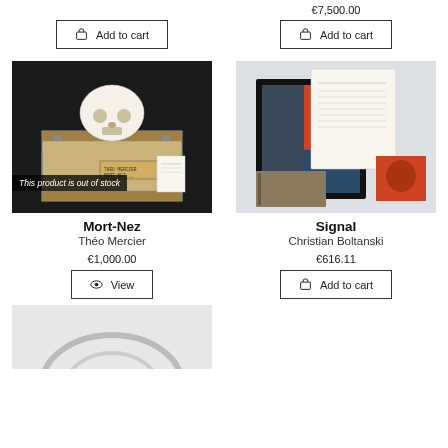€7,500.00
Add to cart
Add to cart
[Figure (photo): White skull resting on top of a wooden crate labeled 'THEO MERCIER MORT-NEZ' with a small card, on dark background. Overlay text: 'This product is out of stock']
[Figure (photo): Collection of framed artwork, book, and printed documents arranged together on light background — Signal by Christian Boltanski]
Mort-Nez
Théo Mercier
€1,000.00
View
Signal
Christian Boltanski
€616.11
Add to cart
[Figure (photo): Partial view of a product image at the bottom of the page, light grey background with partial circular shape visible]